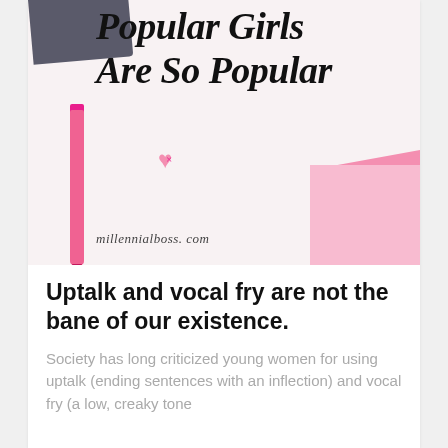[Figure (illustration): Blog post header image on a light pink background with a dark notebook in top-left corner, a vertical pink marker pen on the left side, a small pink heart candy in the center, and a pink folder in the bottom-right. Cursive black text reads 'Popular Girls Are So Popular' with 'millennialboss.com' watermark at the bottom.]
Uptalk and vocal fry are not the bane of our existence.
Society has long criticized young women for using uptalk (ending sentences with an inflection) and vocal fry (a low, creaky tone